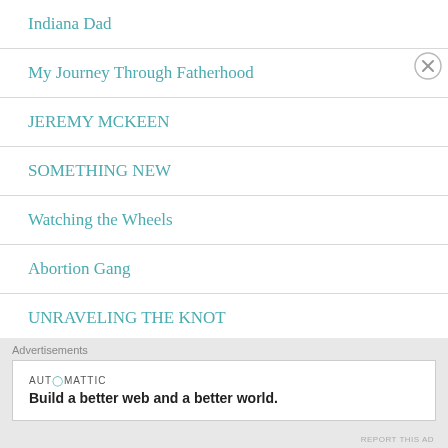Indiana Dad
My Journey Through Fatherhood
JEREMY MCKEEN
SOMETHING NEW
Watching the Wheels
Abortion Gang
UNRAVELING THE KNOT
From one Pisces fish to you....
Advertisements
AUTOMATTIC
Build a better web and a better world.